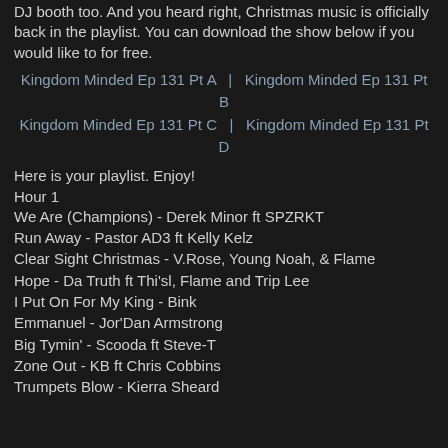DJ booth too. And you heard right, Christmas music is officially back in the playlist. You can download the show below if you would like to for free.
Kingdom Minded Ep 131 Pt A  |  Kingdom Minded Ep 131 Pt B  Kingdom Minded Ep 131 Pt C  |  Kingdom Minded Ep 131 Pt D
Here is your playlist. Enjoy!
Hour 1
We Are (Champions) - Derek Minor ft SPZRKT
Run Away - Pastor AD3 ft Kelly Kelz
Clear Sight Christmas - V.Rose, Young Noah, & Flame
Hope - Da Truth ft Thi'sl, Flame and Trip Lee
I Put On For My King - Bink
Emmanuel - Jor'Dan Armstrong
Big Tymin' - Scooda ft Steve-T
Zone Out - KB ft Chris Cobbins
Trumpets Blow - Kierra Sheard